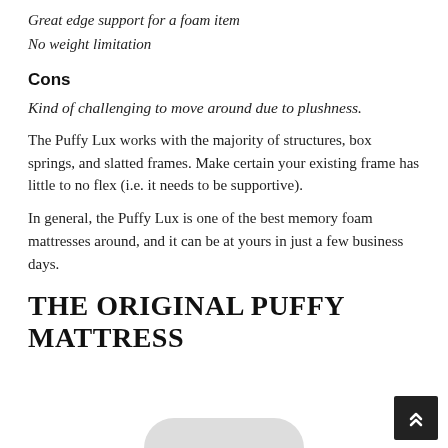Great edge support for a foam item
No weight limitation
Cons
Kind of challenging to move around due to plushness.
The Puffy Lux works with the majority of structures, box springs, and slatted frames. Make certain your existing frame has little to no flex (i.e. it needs to be supportive).
In general, the Puffy Lux is one of the best memory foam mattresses around, and it can be at yours in just a few business days.
THE ORIGINAL PUFFY MATTRESS